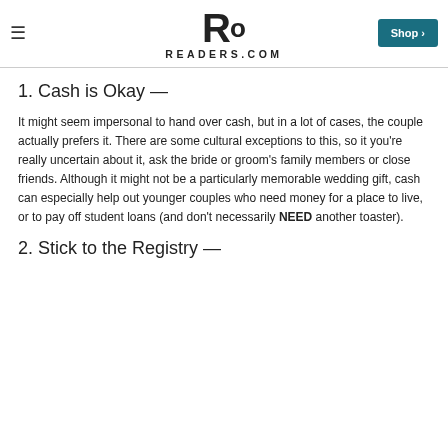READERS.COM
1. Cash is Okay —
It might seem impersonal to hand over cash, but in a lot of cases, the couple actually prefers it. There are some cultural exceptions to this, so it you're really uncertain about it, ask the bride or groom's family members or close friends. Although it might not be a particularly memorable wedding gift, cash can especially help out younger couples who need money for a place to live, or to pay off student loans (and don't necessarily NEED another toaster).
2. Stick to the Registry —